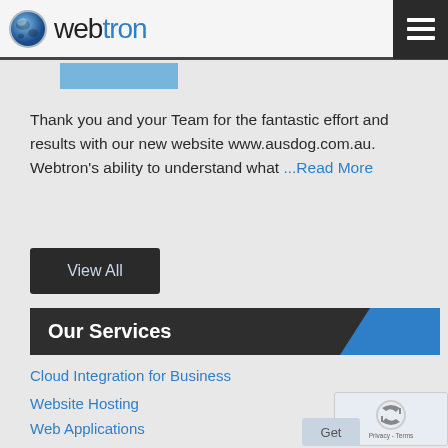webtron
[Figure (logo): Webtron logo with globe icon and text 'webtron' where 'tron' is in blue]
Thank you and your Team for the fantastic effort and results with our new website www.ausdog.com.au. Webtron's ability to understand what ...Read More
View All
Our Services
Cloud Integration for Business
Website Hosting
Web Applications
Web Design and Development
Online Auction Software and Services